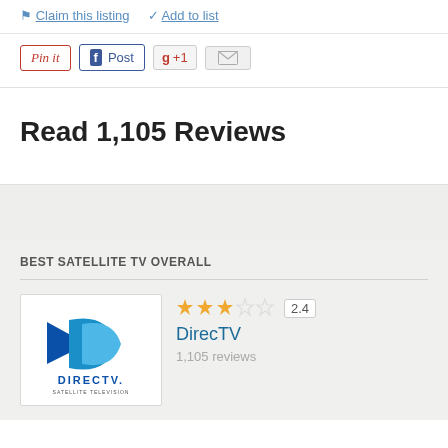Claim this listing   Add to list
[Figure (screenshot): Social sharing buttons: Pin it, Facebook Post, Google +1, Email]
Read 1,105 Reviews
BEST SATELLITE TV OVERALL
[Figure (logo): DirecTV logo - satellite television]
2.4
DirecTV
1,105 reviews